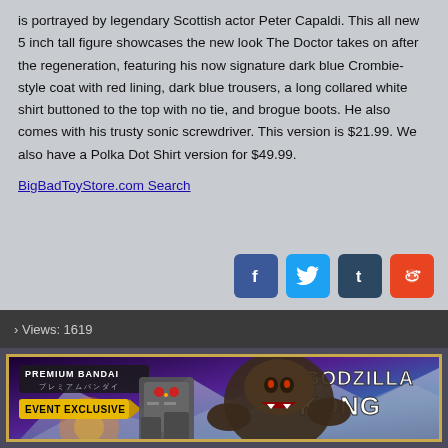is portrayed by legendary Scottish actor Peter Capaldi. This all new 5 inch tall figure showcases the new look The Doctor takes on after the regeneration, featuring his now signature dark blue Crombie-style coat with red lining, dark blue trousers, a long collared white shirt buttoned to the top with no tie, and brogue boots. He also comes with his trusty sonic screwdriver. This version is $21.99. We also have a Polka Dot Shirt version for $49.99.
BigBadToyStore.com Search
› Views: 1619
[Figure (photo): Premium Bandai Event Exclusive Godzilla vs. Kong product advertisement showing a mechanical Godzilla figure and a large Kong gorilla figure with mountains in the background]